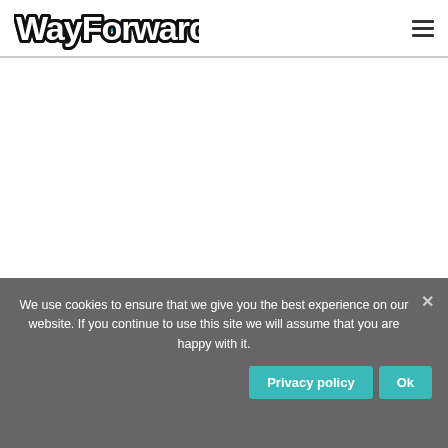[Figure (logo): WayForward logo with stylized text in black and white with blue accent, top left of navigation bar]
[Figure (other): Hamburger menu icon (three horizontal lines) in top right of navigation bar]
We use cookies to ensure that we give you the best experience on our website. If you continue to use this site we will assume that you are happy with it.
Privacy policy
Ok